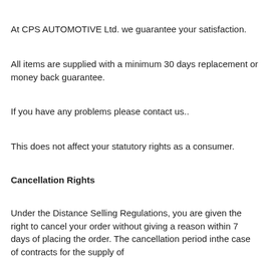At CPS AUTOMOTIVE Ltd. we guarantee your satisfaction.
All items are supplied with a minimum 30 days replacement or money back guarantee.
If you have any problems please contact us..
This does not affect your statutory rights as a consumer.
Cancellation Rights
Under the Distance Selling Regulations, you are given the right to cancel your order without giving a reason within 7 days of placing the order. The cancellation period inthe case of contracts for the supply of